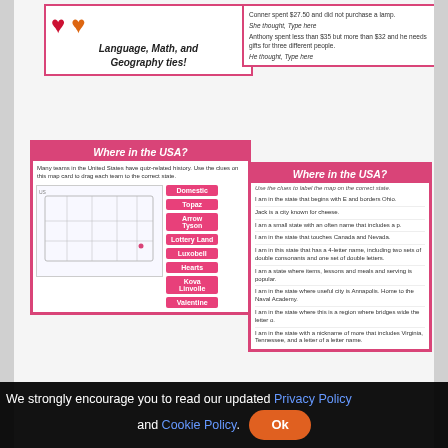[Figure (screenshot): Valentine's Day educational worksheet preview showing 'Where in the USA?' geography activity cards with US map and pink buttons, math word problem cards, and language/math/geography tie-in label]
5 Valentine – Related Critical Thinking Activities Perfect for Morning Work, Centers, or Enrichment Assign Digitally – No paper needed!
Digital Critical Thinking Critical thinking activities
[Figure (screenshot): Step One and Step Two instruction boxes with blue side bars and green/yellow backgrounds]
We strongly encourage you to read our updated Privacy Policy and Cookie Policy. Ok